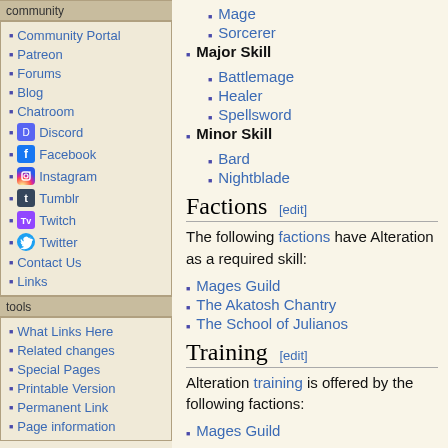community
Community Portal
Patreon
Forums
Blog
Chatroom
Discord
Facebook
Instagram
Tumblr
Twitch
Twitter
Contact Us
Links
tools
What Links Here
Related changes
Special Pages
Printable Version
Permanent Link
Page information
Mage
Sorcerer
Major Skill
Battlemage
Healer
Spellsword
Minor Skill
Bard
Nightblade
Factions [edit]
The following factions have Alteration as a required skill:
Mages Guild
The Akatosh Chantry
The School of Julianos
Training [edit]
Alteration training is offered by the following factions:
Mages Guild